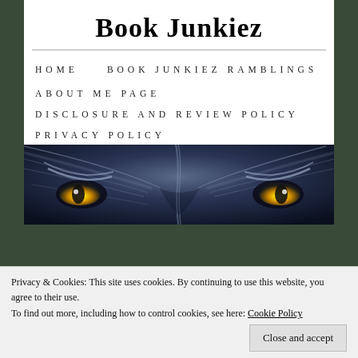Book Junkiez
HOME
BOOK JUNKIEZ RAMBLINGS
ABOUT ME PAGE
DISCLOSURE AND REVIEW POLICY
PRIVACY POLICY
[Figure (photo): Close-up of a wolf's eyes with yellow/amber eyes against blue-grey fur, wide banner format]
Privacy & Cookies: This site uses cookies. By continuing to use this website, you agree to their use.
To find out more, including how to control cookies, see here: Cookie Policy
Close and accept